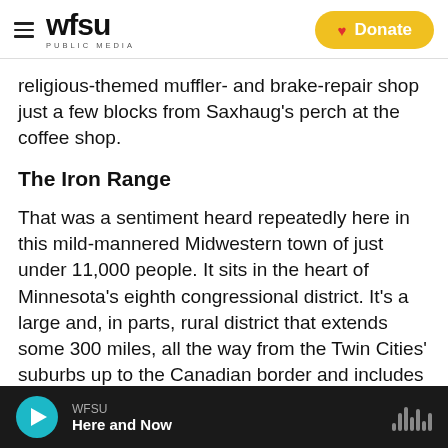wfsu PUBLIC MEDIA | Donate
religious-themed muffler- and brake-repair shop just a few blocks from Saxhaug's perch at the coffee shop.
The Iron Range
That was a sentiment heard repeatedly here in this mild-mannered Midwestern town of just under 11,000 people. It sits in the heart of Minnesota's eighth congressional district. It's a large and, in parts, rural district that extends some 300 miles, all the way from the Twin Cities' suburbs up to the Canadian border and includes the "Iron Range."
WFSU | Here and Now